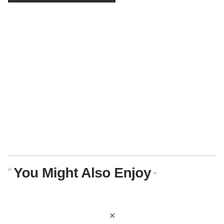[Figure (other): Dark horizontal bar at the top left of the page]
— — — — — — — — — — — — — — — — — — — —
You Might Also Enjoy